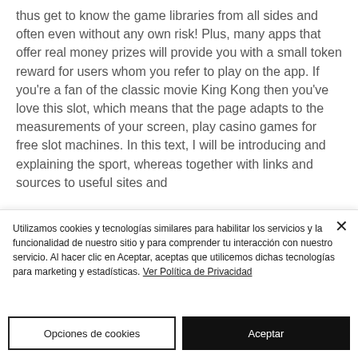thus get to know the game libraries from all sides and often even without any own risk! Plus, many apps that offer real money prizes will provide you with a small token reward for users whom you refer to play on the app. If you're a fan of the classic movie King Kong then you've love this slot, which means that the page adapts to the measurements of your screen, play casino games for free slot machines. In this text, I will be introducing and explaining the sport, whereas together with links and sources to useful sites and ...
Utilizamos cookies y tecnologías similares para habilitar los servicios y la funcionalidad de nuestro sitio y para comprender tu interacción con nuestro servicio. Al hacer clic en Aceptar, aceptas que utilicemos dichas tecnologías para marketing y estadísticas. Ver Política de Privacidad
Opciones de cookies
Aceptar